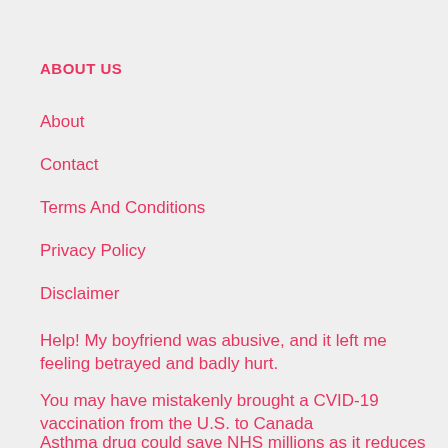ABOUT US
About
Contact
Terms And Conditions
Privacy Policy
Disclaimer
Help! My boyfriend was abusive, and it left me feeling betrayed and badly hurt.
You may have mistakenly brought a CVID-19 vaccination from the U.S. to Canada
Asthma drug could save NHS millions as it reduces